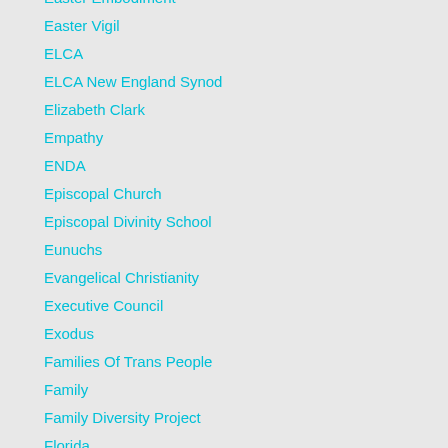Easter Embodiment
Easter Vigil
ELCA
ELCA New England Synod
Elizabeth Clark
Empathy
ENDA
Episcopal Church
Episcopal Divinity School
Eunuchs
Evangelical Christianity
Executive Council
Exodus
Families Of Trans People
Family
Family Diversity Project
Florida
Forms
Fringe Festivals